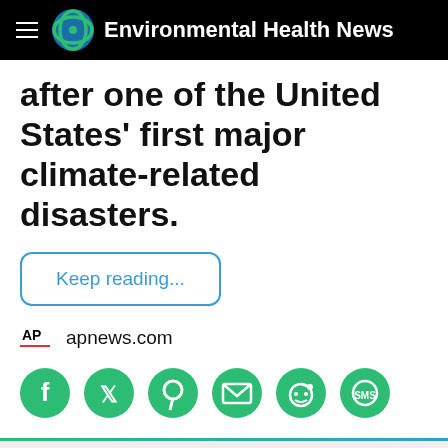Environmental Health News
after one of the United States’ first major climate-related disasters.
Keep reading...
apnews.com
[Figure (infographic): Row of six green circular social media share icons: Facebook, Twitter, Pinterest, Email, Reddit, SMS]